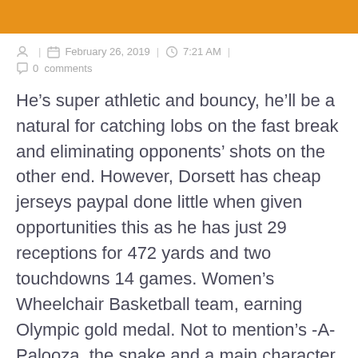| February 26, 2019 | 7:21 AM | 0 comments
He’s super athletic and bouncy, he’ll be a natural for catching lobs on the fast break and eliminating opponents’ shots on the other end. However, Dorsett has cheap jerseys paypal done little when given opportunities this as he has just 29 receptions for 472 yards and two touchdowns 14 games. Women’s Wheelchair Basketball team, earning Olympic gold medal. Not to mention’s -A-Palooza, the snake and a main character on . While there’s still a good amount of hey, look at me among Odell Beckham Jr. He is boring! State police say a woman was allegedly held against her overnight and shot the arm before she escaped the home Wednesday morning. Clady agreed